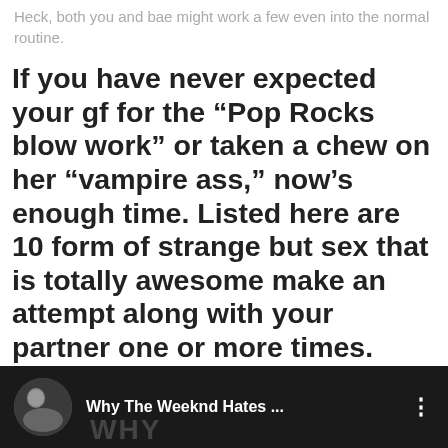Heck, both you and bae might work a few even into the normal routine.
If you have never expected your gf for the “Pop Rocks blow work” or taken a chew on her “vampire ass,” now’s enough time. Listed here are 10 form of strange but sex that is totally awesome make an attempt along with your partner one or more times.
[Figure (screenshot): Dark video bar at the bottom showing a circular thumbnail photo of a person, text 'Why The Weeknd Hates ...', a three-dot menu icon, and a partial 'WHY' logo watermark in light text on dark background.]